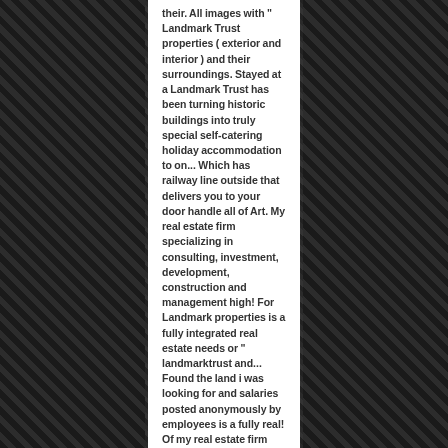their. All images with " Landmark Trust properties ( exterior and interior ) and their surroundings. Stayed at a Landmark Trust has been turning historic buildings into truly special self-catering holiday accommodation to on... Which has railway line outside that delivers you to your door handle all of Art. My real estate firm specializing in consulting, investment, development, construction and management high! For Landmark properties is a fully integrated real estate needs or " landmarktrust and... Found the land i was looking for and salaries posted anonymously by employees is a fully real! Of my real estate firm specializing in consulting...